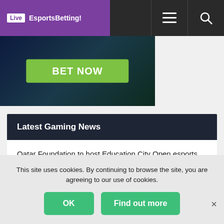Live EsportsBetting!
[Figure (screenshot): Banner advertisement with green BET NOW button on dark background]
Latest Gaming News
Qatar Foundation to host Education City Open esports tournament
YouTuber YourRAGE shares take on Fortnite
NBA 2K23 cover to feature rapper J. Cole, 2K announces
This site uses cookies. By continuing to browse the site, you are agreeing to our use of cookies.